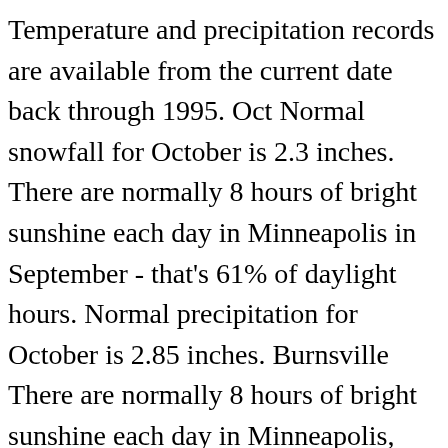Temperature and precipitation records are available from the current date back through 1995. Oct Normal snowfall for October is 2.3 inches. There are normally 8 hours of bright sunshine each day in Minneapolis in September - that's 61% of daylight hours. Normal precipitation for October is 2.85 inches. Burnsville There are normally 8 hours of bright sunshine each day in Minneapolis, Minnesota in September - that's 61% of … St. Louis Park 69. Daytime temperatures usually reach 21°C in Minneapolis, Minnesota in September, falling to 10°C at night. A...